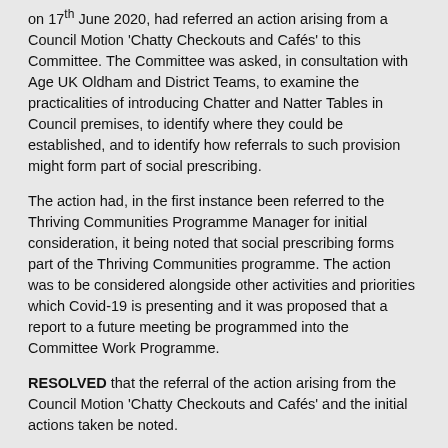on 17th June 2020, had referred an action arising from a Council Motion 'Chatty Checkouts and Cafés' to this Committee. The Committee was asked, in consultation with Age UK Oldham and District Teams, to examine the practicalities of introducing Chatter and Natter Tables in Council premises, to identify where they could be established, and to identify how referrals to such provision might form part of social prescribing.
The action had, in the first instance been referred to the Thriving Communities Programme Manager for initial consideration, it being noted that social prescribing forms part of the Thriving Communities programme. The action was to be considered alongside other activities and priorities which Covid-19 is presenting and it was proposed that a report to a future meeting be programmed into the Committee Work Programme.
RESOLVED that the referral of the action arising from the Council Motion 'Chatty Checkouts and Cafés' and the initial actions taken be noted.
10.
Health Scrutiny Committee Work Programme 2020/21